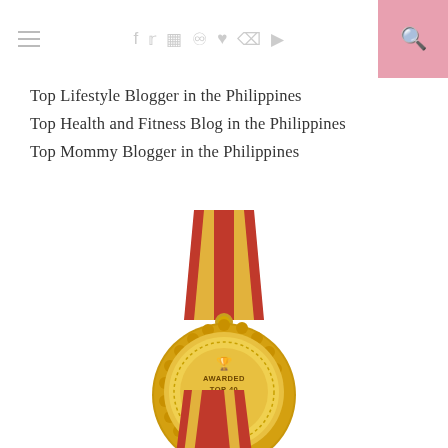Navigation and social icons bar
Top Lifestyle Blogger in the Philippines
Top Health and Fitness Blog in the Philippines
Top Mommy Blogger in the Philippines
[Figure (illustration): Gold medal with red and gold ribbon awarded Top 40 Filipina Beauty Blogger]
[Figure (illustration): Partial view of a second gold medal ribbon at the bottom of the page]